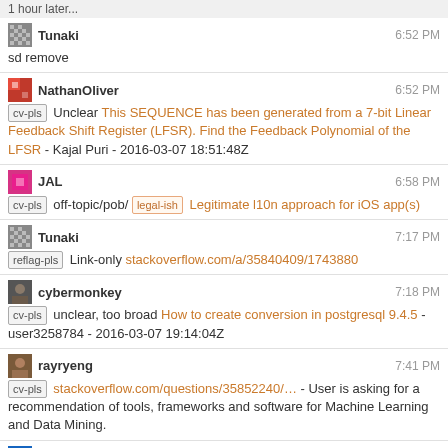1 hour later...
Tunaki 6:52 PM
sd remove
NathanOliver 6:52 PM
cv-pls Unclear This SEQUENCE has been generated from a 7-bit Linear Feedback Shift Register (LFSR). Find the Feedback Polynomial of the LFSR - Kajal Puri - 2016-03-07 18:51:48Z
JAL 6:58 PM
cv-pls off-topic/pob/ legal-ish Legitimate l10n approach for iOS app(s)
Tunaki 7:17 PM
reflag-pls Link-only stackoverflow.com/a/35840409/1743880
cybermonkey 7:18 PM
cv-pls unclear, too broad How to create conversion in postgresql 9.4.5 - user3258784 - 2016-03-07 19:14:04Z
rayryeng 7:41 PM
cv-pls stackoverflow.com/questions/35852240/... - User is asking for a recommendation of tools, frameworks and software for Machine Learning and Data Mining.
kayess 7:46 PM
cv-pls POB (alot) Building a software based conferencing system (Server Requirments) - Luke Brickman - 2016-03-07 18:35:55Z
cv-pls POB, uncertain if unclear though Ideas for NUMA project - sudeepdino008 - 2016-03-07 17:18:20Z